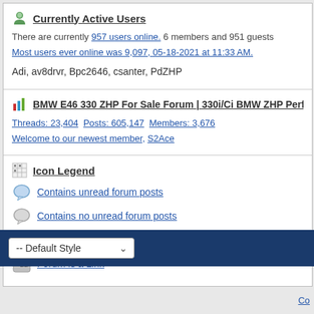Currently Active Users
There are currently 957 users online. 6 members and 951 guests
Most users ever online was 9,097, 05-18-2021 at 11:33 AM.
Adi, av8drvr, Bpc2646, csanter, PdZHP
BMW E46 330 ZHP For Sale Forum | 330i/Ci BMW ZHP Performar
Threads: 23,404   Posts: 605,147   Members: 3,676
Welcome to our newest member, S2Ace
Icon Legend
Contains unread forum posts
Contains no unread forum posts
Forum is a category
Forum is a Link
-- Default Style
Co